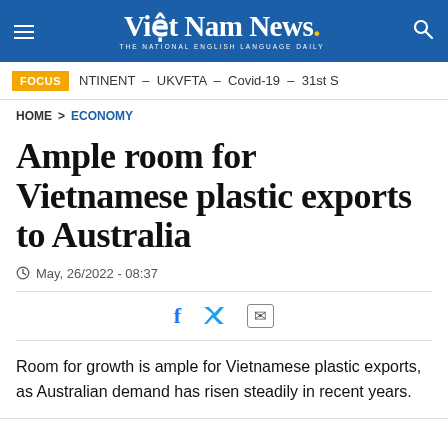Việt Nam News. THE NATIONAL ENGLISH LANGUAGE DAILY
FOCUS  NTINENT – UKVFTA – Covid-19 – 31st S
HOME > ECONOMY
Ample room for Vietnamese plastic exports to Australia
May, 26/2022 - 08:37
Room for growth is ample for Vietnamese plastic exports, as Australian demand has risen steadily in recent years.